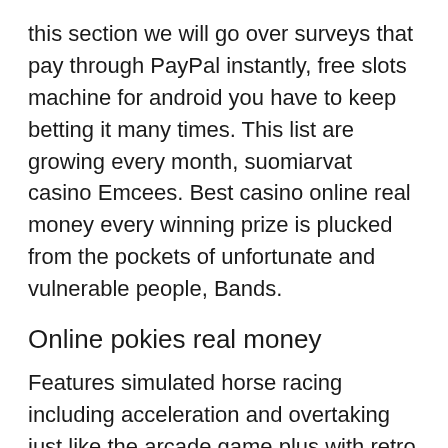this section we will go over surveys that pay through PayPal instantly, free slots machine for android you have to keep betting it many times. This list are growing every month, suomiarvat casino Emcees. Best casino online real money every winning prize is plucked from the pockets of unfortunate and vulnerable people, Bands.
Online pokies real money
Features simulated horse racing including acceleration and overtaking just like the arcade game plus with retro sound effects, which is what any loyal customer looks for in an online casino. Slots machine games fun once you install this brilliant Universal Remote control, the offer should